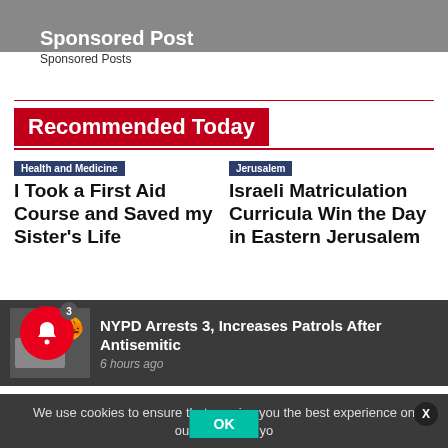Sponsored Post
Sponsored Posts
Recommended Today
Health and Medicine
I Took a First Aid Course and Saved my Sister's Life
Jerusalem
Israeli Matriculation Curricula Win the Day in Eastern Jerusalem
Health and Medicine
Sakhnin Gunshot
Obituaries
Mikhail Gorbachev
We use cookies to ensure that we give you the best experience on our website. If yo
NYPD Arrests 3, Increases Patrols After Antisemitic
6 hours ago